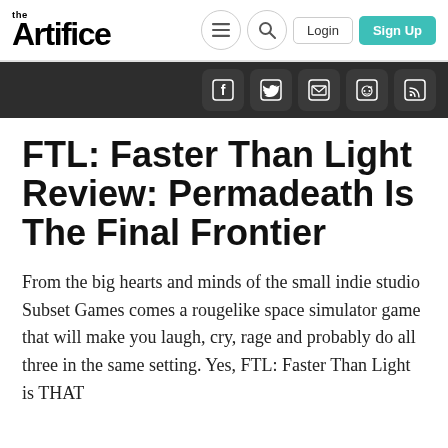the Artifice — Login | Sign Up
[Figure (screenshot): Social media icons bar: Facebook, Twitter, Email, Reddit, RSS feed on dark background]
FTL: Faster Than Light Review: Permadeath Is The Final Frontier
From the big hearts and minds of the small indie studio Subset Games comes a rougelike space simulator game that will make you laugh, cry, rage and probably do all three in the same setting. Yes, FTL: Faster Than Light is THAT